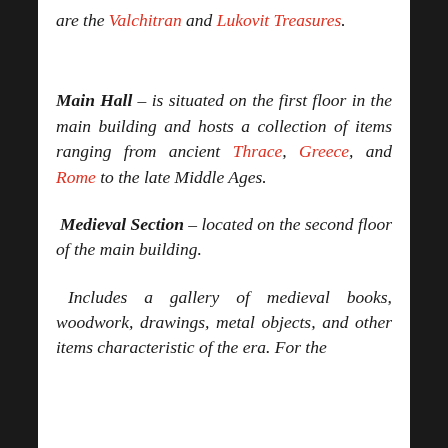The most well-known Bulgarian treasures are the Valchitran and Lukovit Treasures.
Main Hall – is situated on the first floor in the main building and hosts a collection of items ranging from ancient Thrace, Greece, and Rome to the late Middle Ages.
Medieval Section – located on the second floor of the main building.
Includes a gallery of medieval books, woodwork, drawings, metal objects, and other items characteristic of the era. For the